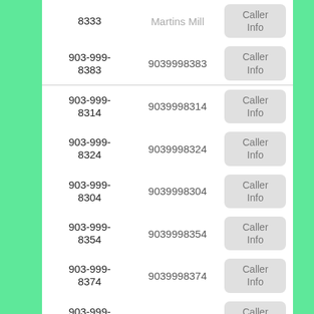| Phone | Number | Action |
| --- | --- | --- |
| 8333 | Martins Mill | Caller Info |
| 903-999-8383 | 9039998383 | Caller Info |
| 903-999-8314 | 9039998314 | Caller Info |
| 903-999-8324 | 9039998324 | Caller Info |
| 903-999-8304 | 9039998304 | Caller Info |
| 903-999-8354 | 9039998354 | Caller Info |
| 903-999-8374 | 9039998374 | Caller Info |
| 903-999-8394 | 9039998394 | Caller Info |
| 903-999-... |  | Caller Info |